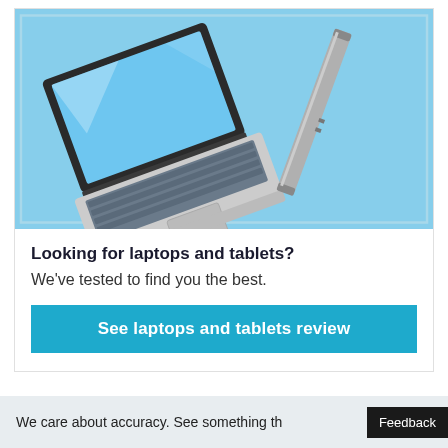[Figure (illustration): Two laptops on a light blue background — one open showing a bright blue screen with light reflections, and a second laptop shown from the side/closed angle]
Looking for laptops and tablets?
We've tested to find you the best.
See laptops and tablets review
We care about accuracy. See something th